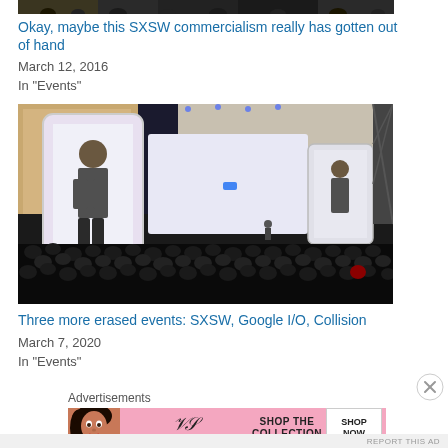[Figure (photo): Partial top strip of a crowd/event photo cropped at top of page]
Okay, maybe this SXSW commercialism really has gotten out of hand
March 12, 2016
In "Events"
[Figure (photo): Conference keynote stage with large screens showing a speaker (Sundar Pichai at Google I/O), a large audience seated in an outdoor amphitheater]
Three more erased events: SXSW, Google I/O, Collision
March 7, 2020
In "Events"
Advertisements
[Figure (photo): Victoria's Secret advertisement banner: woman model on left, VS logo with VICTORIA'S SECRET text in center, SHOP THE COLLECTION text, SHOP NOW button on right, pink background]